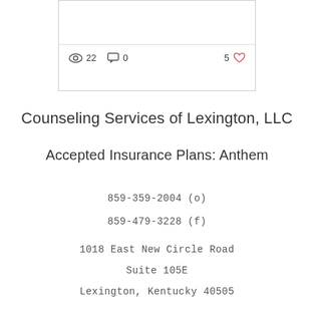[Figure (screenshot): Top portion of a social media post card showing a horizontal divider line and engagement stats: 22 views, 0 comments, 5 likes (heart icon)]
Counseling Services of Lexington, LLC
Accepted Insurance Plans: Anthem
859-359-2004 (o)
859-479-3228 (f)
1018 East New Circle Road
Suite 105E
Lexington, Kentucky 40505